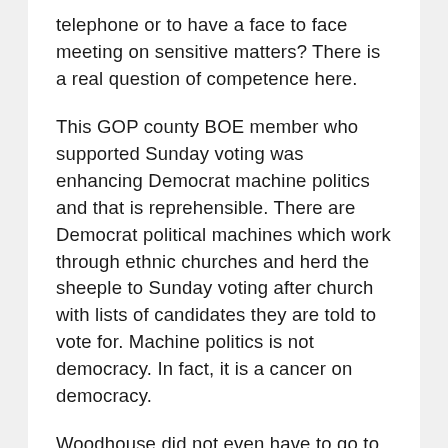telephone or to have a face to face meeting on sensitive matters? There is a real question of competence here.
This GOP county BOE member who supported Sunday voting was enhancing Democrat machine politics and that is reprehensible. There are Democrat political machines which work through ethnic churches and herd the sheeple to Sunday voting after church with lists of candidates they are told to vote for. Machine politics is not democracy. In fact, it is a cancer on democracy.
Woodhouse did not even have to go to another county on this. A phone call or inviting the guy to lunch would have stood a better chance of success on the important policy issue here.